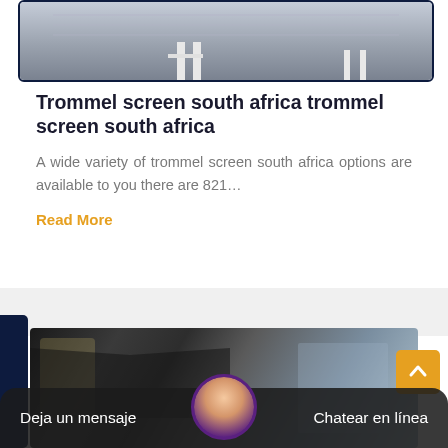[Figure (photo): Top portion of an article card showing a gray industrial/facility image with white structural elements]
Trommel screen south africa trommel screen south africa
A wide variety of trommel screen south africa options are available to you there are 821…
Read More
[Figure (photo): Bottom article card showing industrial machinery with dark metal parts and light blue/gray background]
Deja un mensaje
Chatear en línea